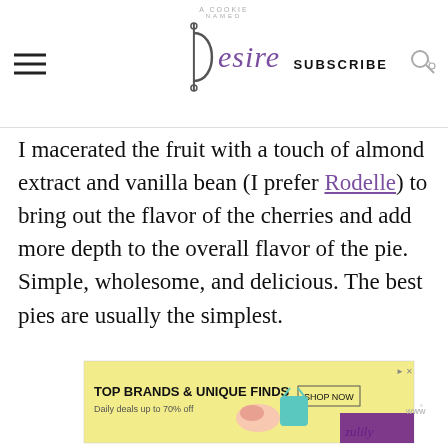A Cookie Named Desire — SUBSCRIBE
I macerated the fruit with a touch of almond extract and vanilla bean (I prefer Rodelle) to bring out the flavor of the cherries and add more depth to the overall flavor of the pie. Simple, wholesome, and delicious. The best pies are usually the simplest.

So get in the kitchen and make yourself a good old fashioned pie.
[Figure (screenshot): Advertisement banner: 'TOP BRANDS & UNIQUE FINDS – Daily deals up to 70% off – SHOP NOW' with images of shoes and a teal bag, Zulily branding]